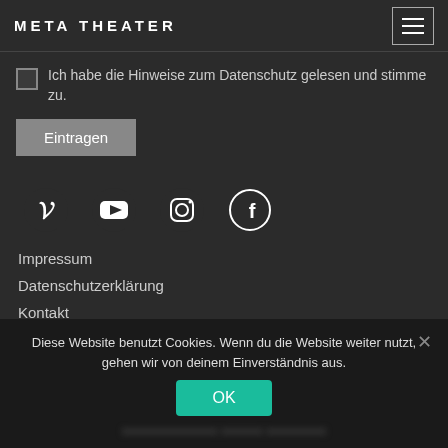META THEATER
Ich habe die Hinweise zum Datenschutz gelesen und stimme zu.
Eintragen
[Figure (other): Social media icons row: Vimeo, YouTube, Instagram, Facebook]
Impressum
Datenschutzerklärung
Kontakt
Diese Website benutzt Cookies. Wenn du die Website weiter nutzt, gehen wir von deinem Einverständnis aus.
OK